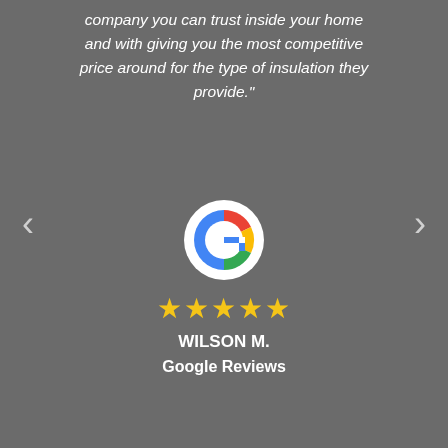company you can trust inside your home and with giving you the most competitive price around for the type of insulation they provide."
[Figure (logo): Google 'G' logo — multicolored circle with red, yellow, green, blue segments and white G letter in center]
★★★★★
WILSON M.
Google Reviews